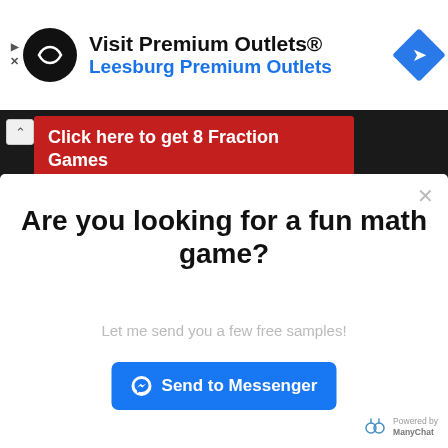[Figure (screenshot): Ad banner for Visit Premium Outlets - Leesburg Premium Outlets with black circular logo and blue diamond navigation icon]
Click here to get 8 Fraction Games FREE!!!
Are you looking for a fun math game?
Let me send you a few free samples!
Send to Messenger
Powered by ManyChat